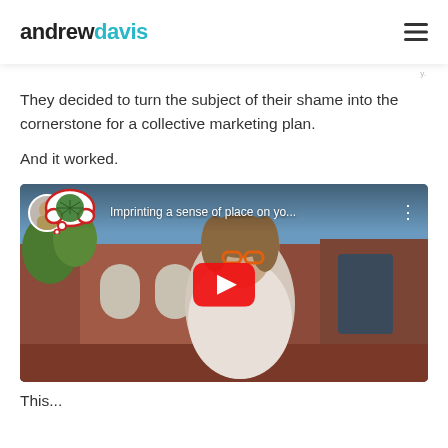andrewdavis
They decided to turn the subject of their shame into the cornerstone for a collective marketing plan.
And it worked.
[Figure (screenshot): YouTube video thumbnail showing a woman with orange glasses standing in front of a brick building. Video title reads 'Imprinting a sense of place on yo...' with a red YouTube play button in the center and a circular avatar with a thought bubble containing cannabis leaves in the top left.]
This...